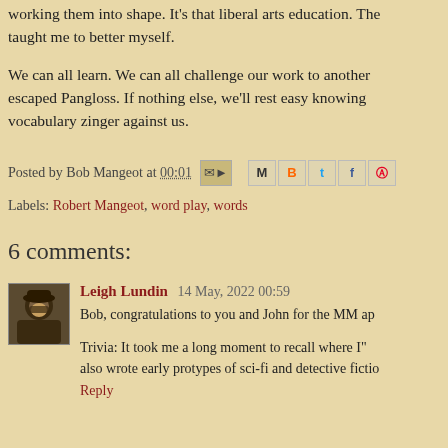working them into shape. It's that liberal arts education. The taught me to better myself.
We can all learn. We can all challenge our work to another escaped Pangloss. If nothing else, we'll rest easy knowing vocabulary zinger against us.
Posted by Bob Mangeot at 00:01
Labels: Robert Mangeot, word play, words
6 comments:
Leigh Lundin 14 May, 2022 00:59
Bob, congratulations to you and John for the MM ap
Trivia: It took me a long moment to recall where I" also wrote early protypes of sci-fi and detective fictio
Reply